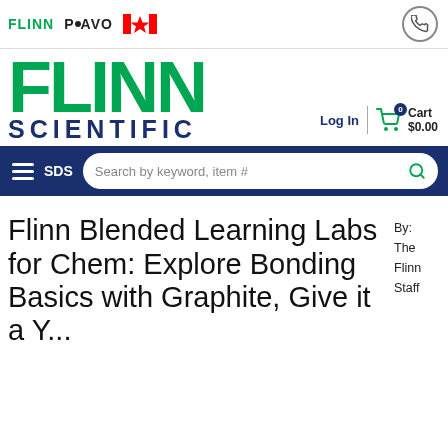[Figure (logo): Flinn Scientific logo with FLINN PAVO text and Canadian flag in top bar]
FLINN SCIENTIFIC — Log In | Cart $0.00
[Figure (screenshot): Navigation bar with hamburger menu, SDS link, and search bar]
Flinn Blended Learning Labs for Chem: Explore Bonding Basics with Graphite, Give it a Y...
By: The Flinn Staff